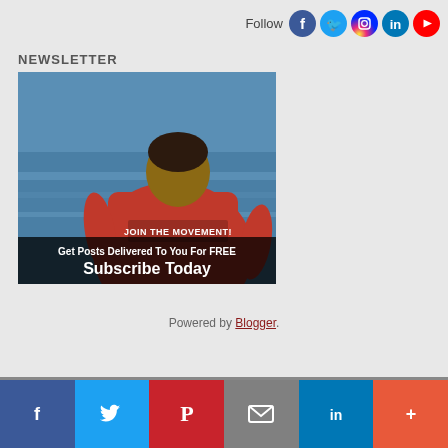[Figure (infographic): Follow social media icons row: Facebook, Twitter, Instagram, LinkedIn, YouTube]
NEWSLETTER
[Figure (photo): Man in red shirt with text JOIN THE MOVEMENT! overlooking ocean, with overlay text: Get Posts Delivered To You For FREE / Subscribe Today]
Powered by Blogger.
[Figure (infographic): Share bar with six buttons: Facebook (blue), Twitter (light blue), Pinterest (red), Email (gray), LinkedIn (dark blue), More (orange-red)]